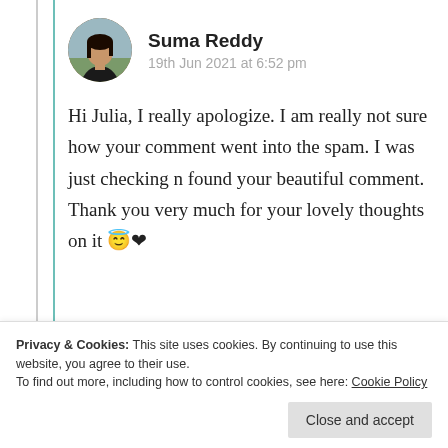[Figure (photo): Circular avatar photo of a person with dark hair against a blurred outdoor background]
Suma Reddy
19th Jun 2021 at 6:52 pm
Hi Julia, I really apologize. I am really not sure how your comment went into the spam. I was just checking n found your beautiful comment. Thank you very much for your lovely thoughts on it 😇❤
Privacy & Cookies: This site uses cookies. By continuing to use this website, you agree to their use.
To find out more, including how to control cookies, see here: Cookie Policy
Close and accept